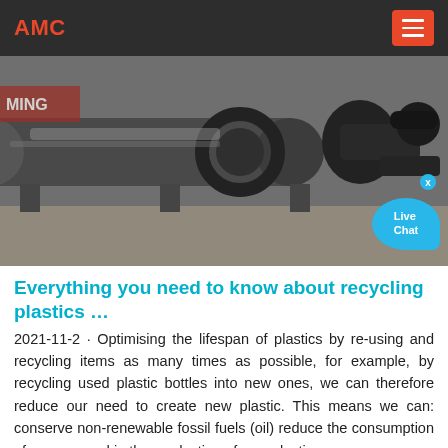AMC
[Figure (photo): Industrial machinery — a large cylindrical ball mill or rotary drum with gear mechanism and motor assembly, photographed in a factory/warehouse setting. A 'Live Chat' bubble overlay appears in the bottom right corner.]
Everything you need to know about recycling plastics …
2021-11-2 · Optimising the lifespan of plastics by re-using and recycling items as many times as possible, for example, by recycling used plastic bottles into new ones, we can therefore reduce our need to create new plastic. This means we can: conserve non-renewable fossil fuels (oil) reduce the consumption of energy used in the production of new plastic